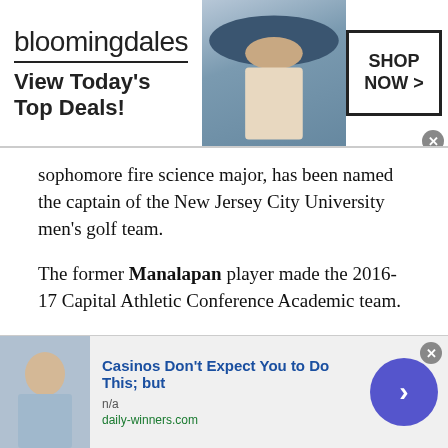[Figure (screenshot): Bloomingdales advertisement banner with logo, model in wide-brim hat, 'View Today's Top Deals!' tagline and 'SHOP NOW >' button]
sophomore fire science major, has been named the captain of the New Jersey City University men's golf team.
The former Manalapan player made the 2016-17 Capital Athletic Conference Academic team.
This season, he fired a 96 for 27th among 33 players at the SUNY Cobleskill Jug Classic at the Cobleskill Golf and Country Club in Cobleskill, N.Y. NJCU was second among six teams.
[Figure (screenshot): Bottom advertisement: 'Casinos Don't Expect You to Do This; but' from daily-winners.com with person image and arrow button]